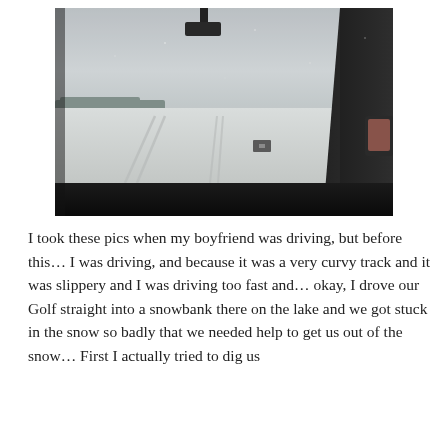[Figure (photo): View from inside a car looking out through the windshield onto a snowy, flat frozen lake. The sky is overcast grey. The car dashboard and interior frame are visible in the foreground including the A-pillar on the right and the rear-view mirror on the right. Tire tracks are visible in the snow ahead. There is a small sign or marker visible in the middle distance.]
I took these pics when my boyfriend was driving, but before this… I was driving, and because it was a very curvy track and it was slippery and I was driving too fast and… okay, I drove our Golf straight into a snowbank there on the lake and we got stuck in the snow so badly that we needed help to get us out of the snow… First I actually tried to dig us